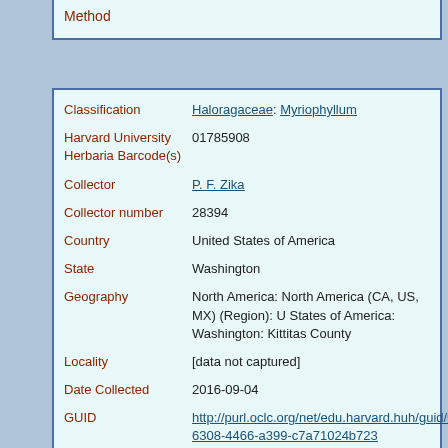Method
| Field | Value |
| --- | --- |
| Classification | Haloragaceae: Myriophyllum |
| Harvard University Herbaria Barcode(s) | 01785908 |
| Collector | P. F. Zika |
| Collector number | 28394 |
| Country | United States of America |
| State | Washington |
| Geography | North America: North America (CA, US, MX) (Region): United States of America: Washington: Kittitas County |
| Locality | [data not captured] |
| Date Collected | 2016-09-04 |
| GUID | http://purl.oclc.org/net/edu.harvard.huh/guid/uuid/9f9-6308-4466-a399-c7a71024b723 |
| Harvard University | 01785908 |